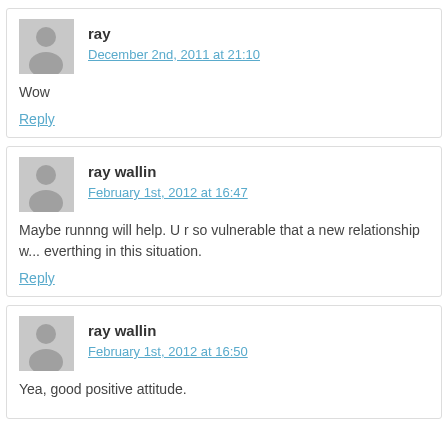ray
December 2nd, 2011 at 21:10
Wow
Reply
ray wallin
February 1st, 2012 at 16:47
Maybe runnng will help. U r so vulnerable that a new relationship w... everthing in this situation.
Reply
ray wallin
February 1st, 2012 at 16:50
Yea, good positive attitude.